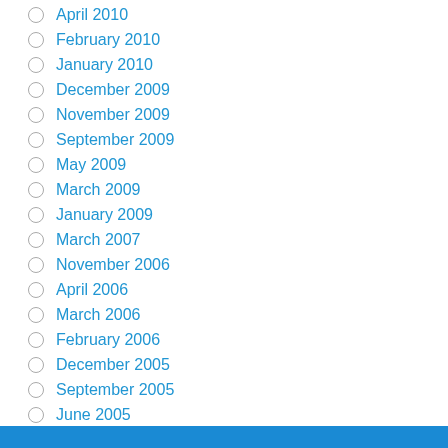April 2010
February 2010
January 2010
December 2009
November 2009
September 2009
May 2009
March 2009
January 2009
March 2007
November 2006
April 2006
March 2006
February 2006
December 2005
September 2005
June 2005